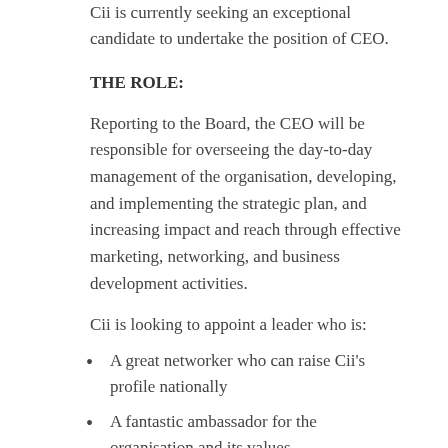Cii is currently seeking an exceptional candidate to undertake the position of CEO.
THE ROLE:
Reporting to the Board, the CEO will be responsible for overseeing the day-to-day management of the organisation, developing, and implementing the strategic plan, and increasing impact and reach through effective marketing, networking, and business development activities.
Cii is looking to appoint a leader who is:
A great networker who can raise Cii's profile nationally
A fantastic ambassador for the organisation and its values
Excellent at leading and developing a dedicated, ambitious staff team